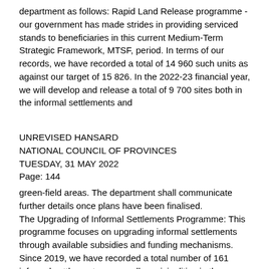department as follows: Rapid Land Release programme - our government has made strides in providing serviced stands to beneficiaries in this current Medium-Term Strategic Framework, MTSF, period. In terms of our records, we have recorded a total of 14 960 such units as against our target of 15 826. In the 2022-23 financial year, we will develop and release a total of 9 700 sites both in the informal settlements and
UNREVISED HANSARD
NATIONAL COUNCIL OF PROVINCES
TUESDAY, 31 MAY 2022
Page: 144
green-field areas. The department shall communicate further details once plans have been finalised.
The Upgrading of Informal Settlements Programme: This programme focuses on upgrading informal settlements through available subsidies and funding mechanisms. Since 2019, we have recorded a total number of 161 informal settlements across all municipalities in the province.
As it stands, a total of 35 projects are being implemented throughout the province – which includes 43 informal